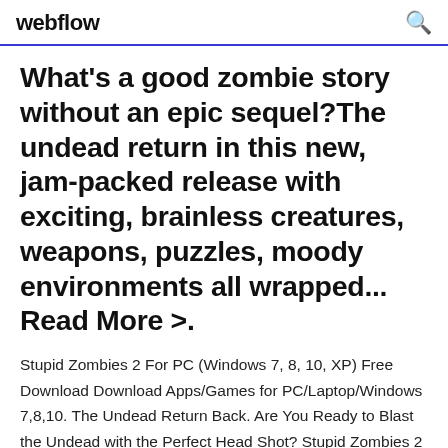webflow
What's a good zombie story without an epic sequel?The undead return in this new, jam-packed release with exciting, brainless creatures, weapons, puzzles, moody environments all wrapped... Read More >.
Stupid Zombies 2 For PC (Windows 7, 8, 10, XP) Free Download Download Apps/Games for PC/Laptop/Windows 7,8,10. The Undead Return Back. Are You Ready to Blast the Undead with the Perfect Head Shot? Stupid Zombies 2 APK helps you killing time,playing a game,make